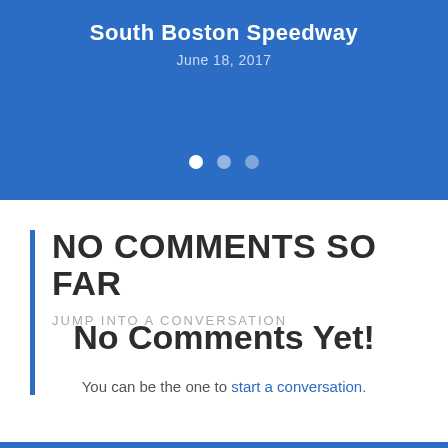South Boston Speedway
June 18, 2017
[Figure (other): Pagination dots: white filled circle, gray circle, gray circle on blue background]
NO COMMENTS SO FAR
JUMP INTO A CONVERSATION
No Comments Yet!
You can be the one to start a conversation.